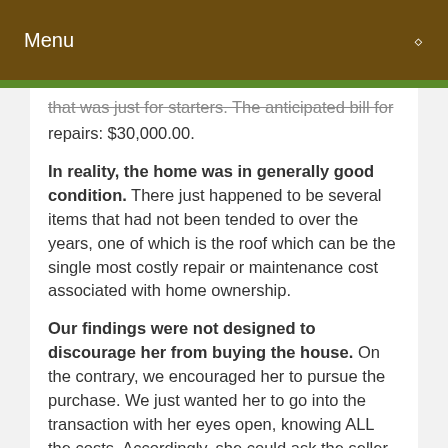Menu
that was just for starters. The anticipated bill for repairs: $30,000.00.
In reality, the home was in generally good condition. There just happened to be several items that had not been tended to over the years, one of which is the roof which can be the single most costly repair or maintenance cost associated with home ownership.
Our findings were not designed to discourage her from buying the house. On the contrary, we encouraged her to pursue the purchase. We just wanted her to go into the transaction with her eyes open, knowing ALL the costs. Accordingly, she could ask the seller to make the needed repairs or negotiate down the purchase price which would allow her to make the repairs through her own forces.
The example that we use of our Aunt's